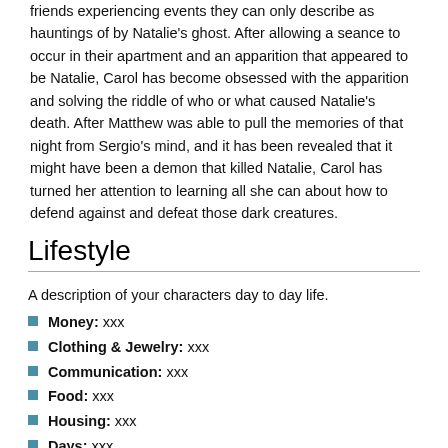friends experiencing events they can only describe as hauntings of by Natalie's ghost. After allowing a seance to occur in their apartment and an apparition that appeared to be Natalie, Carol has become obsessed with the apparition and solving the riddle of who or what caused Natalie's death. After Matthew was able to pull the memories of that night from Sergio's mind, and it has been revealed that it might have been a demon that killed Natalie, Carol has turned her attention to learning all she can about how to defend against and defeat those dark creatures.
Lifestyle
A description of your characters day to day life.
Money: xxx
Clothing & Jewelry: xxx
Communication: xxx
Food: xxx
Housing: xxx
Days: xxx
Evenings: xxx
Background
Age: 26